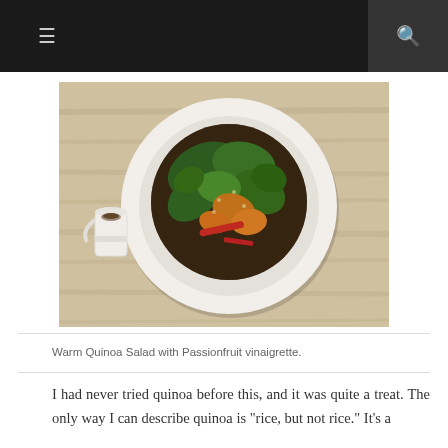≡  🔍
[Figure (photo): Overhead photo of a white bowl containing Warm Quinoa Salad with dark quinoa, green kale, orange roasted vegetables, and red peppers, served on a light wooden table. A small white ceramic pitcher with dressing sits beside the bowl.]
Warm Quinoa Salad with Passionfruit vinaigrette.
I had never tried quinoa before this, and it was quite a treat. The only way I can describe quinoa is "rice, but not rice." It's a